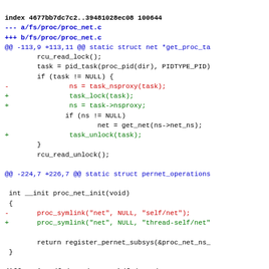index 4677bb7dc7c2..39481028ec08 100644
--- a/fs/proc/proc_net.c
+++ b/fs/proc/proc_net.c
@@ -113,9 +113,11 @@ static struct net *get_proc_ta
        rcu_read_lock();
        task = pid_task(proc_pid(dir), PIDTYPE_PID)
        if (task != NULL) {
-               ns = task_nsproxy(task);
+               task_lock(task);
+               ns = task->nsproxy;
               if (ns != NULL)
                       net = get_net(ns->net_ns);
+               task_unlock(task);
       }
       rcu_read_unlock();

@@ -224,7 +226,7 @@ static struct pernet_operations

 int __init proc_net_init(void)
 {
-       proc_symlink("net", NULL, "self/net");
+       proc_symlink("net", NULL, "thread-self/net"

       return register_pernet_subsys(&proc_net_ns_
 }

diff --git a/fs/proc/root.c b/fs/proc/root.c
index 574bafc41f0b..6296c7626963 100644
--- a/fs/proc/root.c
+++ b/fs/proc/root.c